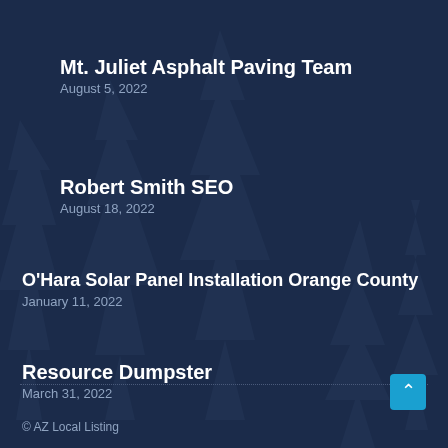Mt. Juliet Asphalt Paving Team
August 5, 2022
Robert Smith SEO
August 18, 2022
O'Hara Solar Panel Installation Orange County
January 11, 2022
Resource Dumpster
March 31, 2022
© AZ Local Listing